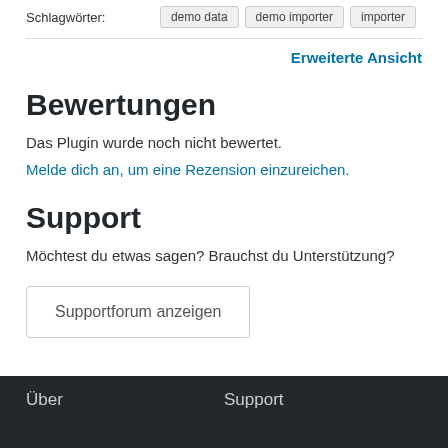Schlagwörter: demo data demo importer importer
Erweiterte Ansicht
Bewertungen
Das Plugin wurde noch nicht bewertet.
Melde dich an, um eine Rezension einzureichen.
Support
Möchtest du etwas sagen? Brauchst du Unterstützung?
Supportforum anzeigen
Über   Support